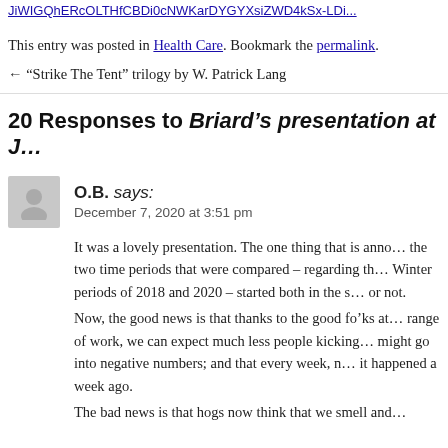JiWIGQhERcOLTHfCBDi0cNWKarDYGYXsiZWD4kSx-LDi...
This entry was posted in Health Care. Bookmark the permalink.
← "Strike The Tent" trilogy by W. Patrick Lang
20 Responses to Briard's presentation at J…
O.B. says:
December 7, 2020 at 3:51 pm
It was a lovely presentation. The one thing that is anno… the two time periods that were compared – regarding th… Winter periods of 2018 and 2020 – started both in the s… or not.
Now, the good news is that thanks to the good fo'ks at… range of work, we can expect much less people kicking… might go into negative numbers; and that every week, n… it happened a week ago.
The bad news is that hogs now think that we smell and…